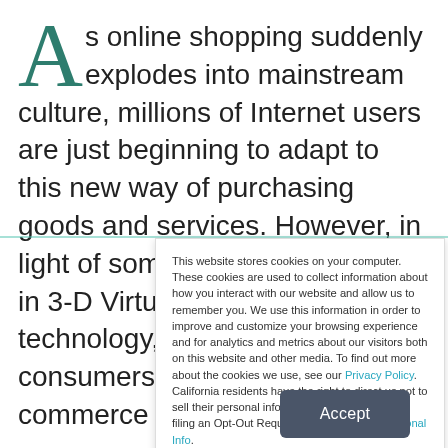As online shopping suddenly explodes into mainstream culture, millions of Internet users are just beginning to adapt to this new way of purchasing goods and services. However, in light of some exciting innovations in 3-D Virtual Reality online store technology, it seems that consumers will find that the e-commerce malls of the future
This website stores cookies on your computer. These cookies are used to collect information about how you interact with our website and allow us to remember you. We use this information in order to improve and customize your browsing experience and for analytics and metrics about our visitors both on this website and other media. To find out more about the cookies we use, see our Privacy Policy. California residents have the right to direct us not to sell their personal information to third parties by filing an Opt-Out Request: Do Not Sell My Personal Info.
Accept